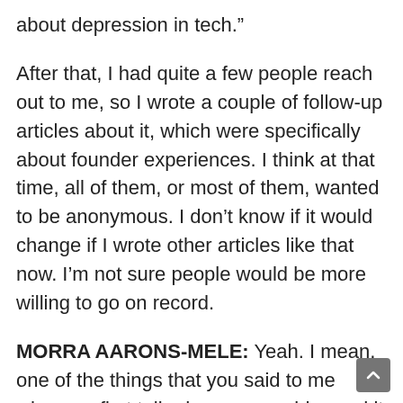about depression in tech.”
After that, I had quite a few people reach out to me, so I wrote a couple of follow-up articles about it, which were specifically about founder experiences. I think at that time, all of them, or most of them, wanted to be anonymous. I don’t know if it would change if I wrote other articles like that now. I’m not sure people would be more willing to go on record.
MORRA AARONS-MELE: Yeah. I mean, one of the things that you said to me when we first talked was you said… and it shocked me to be honest. You said that the mental health discussion hasn’t really evolved over the, I think it’s eight years that you’ve been covering the tech and the startup industry at TechCrunch. That shocked me. Does that shock you?